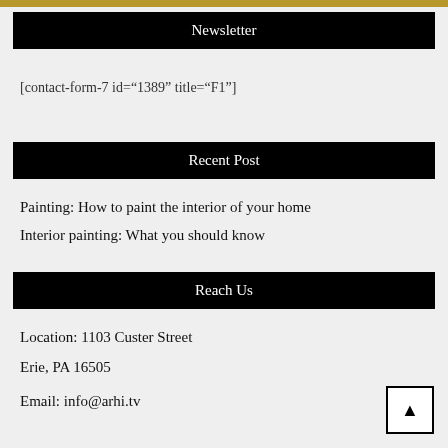Newsletter
[contact-form-7 id="1389" title="F1"]
Recent Post
Painting: How to paint the interior of your home
Interior painting: What you should know
Reach Us
Location: 1103 Custer Street
Erie, PA 16505
Email: info@arhi.tv